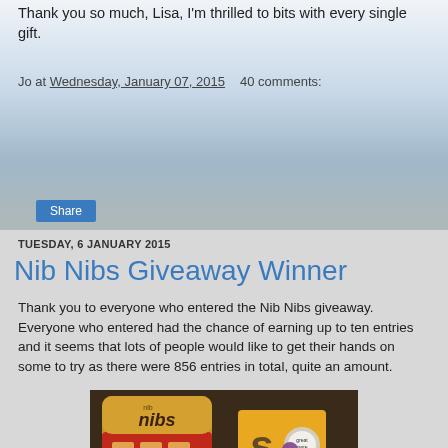Thank you so much, Lisa, I'm thrilled to bits with every single gift.
Jo at Wednesday, January 07, 2015   40 comments:
Share
TUESDAY, 6 JANUARY 2015
Nib Nibs Giveaway Winner
Thank you to everyone who entered the Nib Nibs giveaway. Everyone who entered had the chance of earning up to ten entries and it seems that lots of people would like to get their hands on some to try as there were 856 entries in total, quite an amount.
[Figure (photo): Photo of Nib Nibs cheese biscuits tin with red and yellow design alongside a Great Taste award box on a dark background]